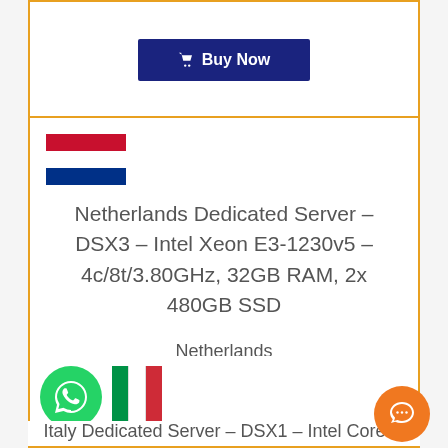[Figure (other): Buy Now button (dark blue) at top of page for previous product card]
[Figure (other): Netherlands flag (red/white/blue horizontal stripes)]
Netherlands Dedicated Server – DSX3 – Intel Xeon E3-1230v5 – 4c/8t/3.80GHz, 32GB RAM, 2x 480GB SSD
Netherlands
$150
[Figure (other): Buy Now button (dark blue) for Netherlands DSX3 server]
[Figure (other): WhatsApp chat button (green circle with phone icon) bottom left]
[Figure (other): Italy flag (green/white/red vertical stripes) partial]
Italy Dedicated Server – DSX1 – Intel Core i5
[Figure (other): Chat bubble button (orange circle) bottom right]